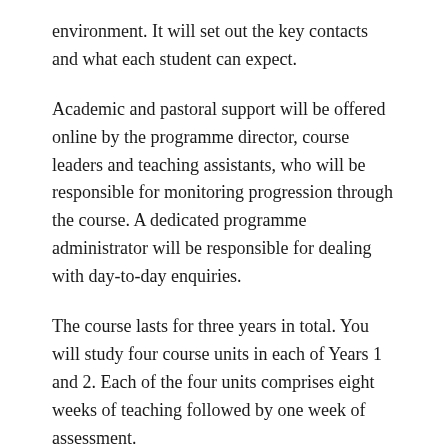environment. It will set out the key contacts and what each student can expect.
Academic and pastoral support will be offered online by the programme director, course leaders and teaching assistants, who will be responsible for monitoring progression through the course. A dedicated programme administrator will be responsible for dealing with day-to-day enquiries.
The course lasts for three years in total. You will study four course units in each of Years 1 and 2. Each of the four units comprises eight weeks of teaching followed by one week of assessment.
You will complete each unit in turn before progressing to the next. The format is designed to be adaptable to the needs of professional students and provides opportunity